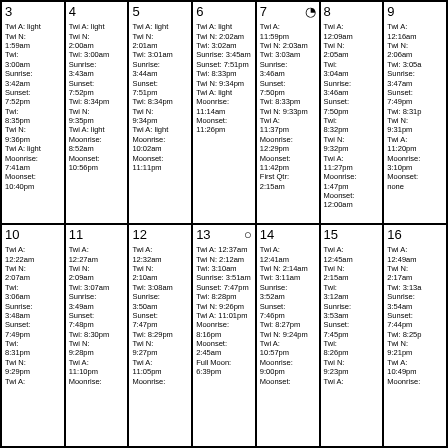| 3 | 4 | 5 | 6 | 7 | 8 | 9 | 10 | 11 | 12 | 13 | 14 | 15 | 16 |
| --- | --- | --- | --- | --- | --- | --- | --- | --- | --- | --- | --- | --- | --- |
| Twi A: light
Twi N: 1:59am
Twi: 3:00am
Sunrise: 3:42am
Sunset: 7:52pm
Twi: 8:35pm
Twi N: 9:36pm
Twi A: light
Moonrise: 7:41am
Moonset: 10:40pm |
| Twi A: light
Twi N: 2:00am
Twi: 3:00am
Sunrise: 3:43am
Sunset: 7:52pm
Twi: 8:34pm
Twi N: 9:35pm
Twi A: light
Moonrise: 8:52am
Moonset: 10:56pm |
| Twi A: light
Twi N: 2:01am
Twi: 3:01am
Sunrise: 3:44am
Sunset: 7:51pm
Twi: 8:34pm
Twi N: 9:34pm
Twi A: light
Moonrise: 10:02am
Moonset: 11:11pm |
| Twi A: light
Twi N: 2:02am
Twi: 3:02am
Sunrise: 3:45am
Sunset: 7:51pm
Twi: 8:33pm
Twi N: 9:34pm
Twi A: light
Moonrise: 11:14am
Moonset: 11:26pm |
| Twi A: 11:59pm
Twi N: 2:03am
Twi: 3:03am
Sunrise: 3:46am
Sunset: 7:50pm
Twi: 8:33pm
Twi N: 9:33pm
Twi A: 11:37pm
Moonrise: 12:29pm
Moonset: 11:42pm
First Qtr: 2:15am |
| Twi A: 12:09am
Twi N: 2:05am
Twi: 3:04am
Sunrise: 3:46am
Sunset: 7:50pm
Twi: 8:32pm
Twi N: 9:32pm
Twi A: 11:27pm
Moonrise: 1:47pm
Moonset: 12:00am |
| Twi A: 12:16am
Twi N: 2:06am
Twi: 3:05am
Sunrise: 3:47am
Sunset: 7:49pm
Twi: 8:31pm
Twi N: 9:31pm
Twi A: 11:20pm
Moonrise: 3:10pm
Moonset: none |